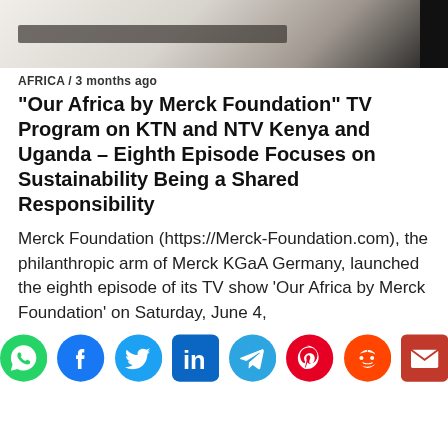[Figure (photo): Partial photo strip at the top of the page, showing a blurred surface fading from light grey to dark/black on the right edge]
AFRICA / 3 months ago
“Our Africa by Merck Foundation” TV Program on KTN and NTV Kenya and Uganda – Eighth Episode Focuses on Sustainability Being a Shared Responsibility
Merck Foundation (https://Merck-Foundation.com), the philanthropic arm of Merck KGaA Germany, launched the eighth episode of its TV show ‘Our Africa by Merck Foundation’ on Saturday, June 4,
[Figure (infographic): Social media share icons row: WhatsApp (green circle), Facebook (blue circle), Twitter (light blue circle), LinkedIn (blue rounded square), Telegram (light blue circle), Pinterest (red circle), Reddit (orange circle), Email (dark red envelope)]